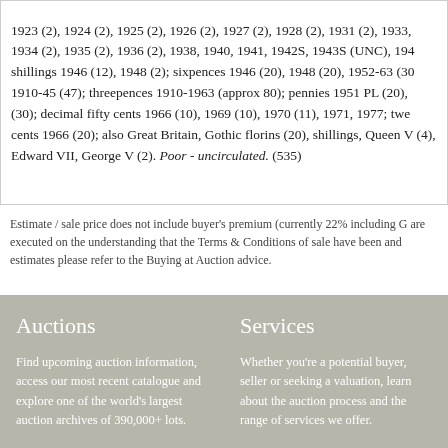1923 (2), 1924 (2), 1925 (2), 1926 (2), 1927 (2), 1928 (2), 1931 (2), 1933, 1934 (2), 1935 (2), 1936 (2), 1938, 1940, 1941, 1942S, 1943S (UNC), 194... shillings 1946 (12), 1948 (2); sixpences 1946 (20), 1948 (20), 1952-63 (30... 1910-45 (47); threepences 1910-1963 (approx 80); pennies 1951 PL (20), ... (30); decimal fifty cents 1966 (10), 1969 (10), 1970 (11), 1971, 1977; twe... cents 1966 (20); also Great Britain, Gothic florins (20), shillings, Queen V... (4), Edward VII, George V (2). Poor - uncirculated. (535)
Estimate / sale price does not include buyer's premium (currently 22% including G... are executed on the understanding that the Terms & Conditions of sale have been... and estimates please refer to the Buying at Auction advice.
Auctions
Find upcoming auction information, access our most recent catalogue and explore one of the world's largest auction archives of 390,000+ lots.
Find out more
Services
Whether you're a potential buyer, seller or seeking a valuation, learn about the auction process and the range of services we offer.
Find out more